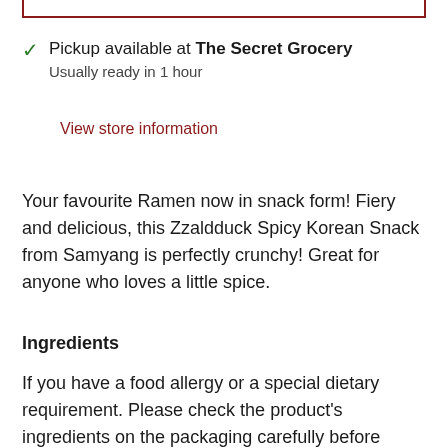Pickup available at The Secret Grocery
Usually ready in 1 hour
View store information
Your favourite Ramen now in snack form! Fiery and delicious, this Zzaldduck Spicy Korean Snack from Samyang is perfectly crunchy! Great for anyone who loves a little spice.
Ingredients
If you have a food allergy or a special dietary requirement. Please check the product's ingredients on the packaging carefully before consuming. If you have any questions, please contact customer service before you place your order.